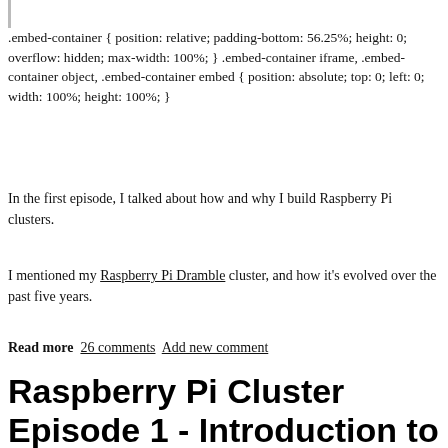.embed-container { position: relative; padding-bottom: 56.25%; height: 0; overflow: hidden; max-width: 100%; } .embed-container iframe, .embed-container object, .embed-container embed { position: absolute; top: 0; left: 0; width: 100%; height: 100%; }
In the first episode, I talked about how and why I build Raspberry Pi clusters.
I mentioned my Raspberry Pi Dramble cluster, and how it's evolved over the past five years.
Read more   26 comments   Add new comment
Raspberry Pi Cluster Episode 1 - Introduction to Clusters